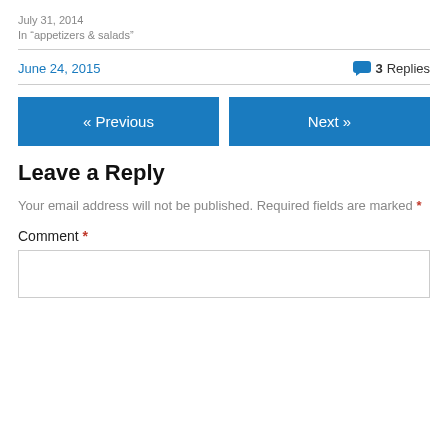July 31, 2014
In “appetizers & salads”
June 24, 2015
3 Replies
« Previous
Next »
Leave a Reply
Your email address will not be published. Required fields are marked *
Comment *